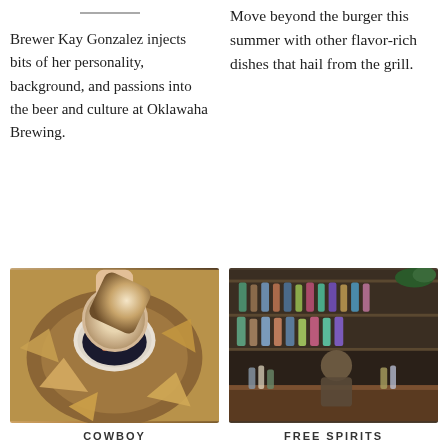Brewer Kay Gonzalez injects bits of her personality, background, and passions into the beer and culture at Oklawaha Brewing.
Move beyond the burger this summer with other flavor-rich dishes that hail from the grill.
[Figure (photo): Overhead view of a hand dipping a tortilla chip into a bowl of colorful bean and corn salsa, surrounded by chips on a wooden board]
[Figure (photo): Bartender working behind a well-stocked bar with shelves of bottles and glassware]
COWBOY
FREE SPIRITS